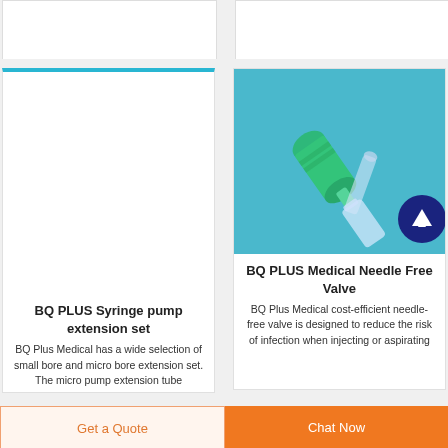[Figure (photo): Partial white card at top left, cut off]
[Figure (photo): Partial white card at top right, cut off]
[Figure (photo): White card with blue top border, left product card for BQ PLUS Syringe pump extension set, image area blank/white]
BQ PLUS Syringe pump extension set
BQ Plus Medical has a wide selection of small bore and micro bore extension set. The micro pump extension tube
[Figure (photo): Product photo of BQ PLUS Medical Needle Free Valve — green connector with clear needle-free valve on blue background; scroll-to-top circular dark blue button overlay]
BQ PLUS Medical Needle Free Valve
BQ Plus Medical cost-efficient needle-free valve is designed to reduce the risk of infection when injecting or aspirating
Get a Quote
Chat Now